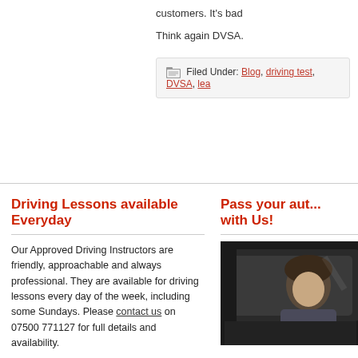customers. It's bad...
Think again DVSA.
Filed Under: Blog, driving test, DVSA, lea...
Driving Lessons available Everyday
Our Approved Driving Instructors are friendly, approachable and always professional. They are available for driving lessons every day of the week, including some Sundays. Please contact us on 07500 771127 for full details and availability.
From the blog
Pass your aut... with Us!
[Figure (photo): Photo of a young person in or near a car, seen through a car window]